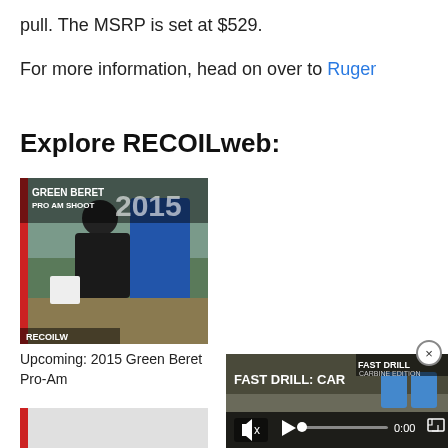pull. The MSRP is set at $529.
For more information, head on over to Ruger
Explore RECOILweb:
[Figure (photo): Green Beret Pro Am Shoot 2015 — a shooter in a black t-shirt firing a pistol at an outdoor range, with a blue target in the background. Text overlay reads GREEN BERET PRO AM SHOOT 2015 and RECOILWEB logo.]
Upcoming: 2015 Green Beret Pro-Am
[Figure (screenshot): Video player thumbnail showing FAST DRILL: CAR text with target silhouettes in an outdoor shooting range. Controls show muted audio, play button, progress bar at 0:00, and fullscreen icon.]
[Figure (photo): Partial image at bottom left, appears to be another article thumbnail.]